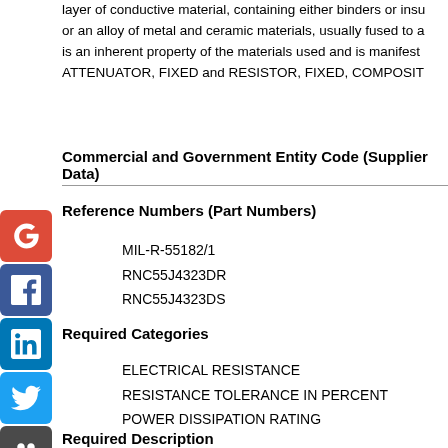layer of conductive material, containing either binders or insulating material, or an alloy of metal and ceramic materials, usually fused to a... is an inherent property of the materials used and is manifest... ATTENUATOR, FIXED and RESISTOR, FIXED, COMPOSIT...
Commercial and Government Entity Code (Supplier Data)
Reference Numbers (Part Numbers)
MIL-R-55182/1
RNC55J4323DR
RNC55J4323DS
Required Categories
ELECTRICAL RESISTANCE
RESISTANCE TOLERANCE IN PERCENT
POWER DISSIPATION RATING
Required Description